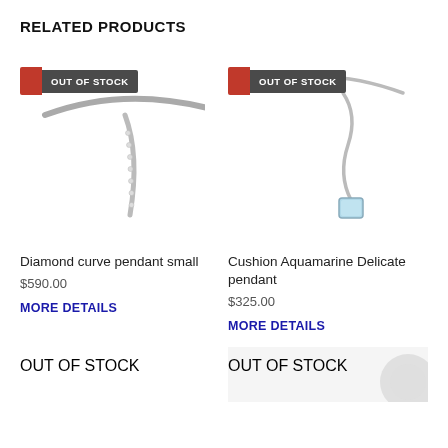RELATED PRODUCTS
[Figure (photo): Diamond curve pendant small jewelry photo with OUT OF STOCK badge]
Diamond curve pendant small
$590.00
MORE DETAILS
[Figure (photo): Cushion Aquamarine Delicate pendant jewelry photo with OUT OF STOCK badge]
Cushion Aquamarine Delicate pendant
$325.00
MORE DETAILS
[Figure (photo): Partial product image with OUT OF STOCK badge (bottom left)]
[Figure (photo): Partial product image with OUT OF STOCK badge (bottom right)]